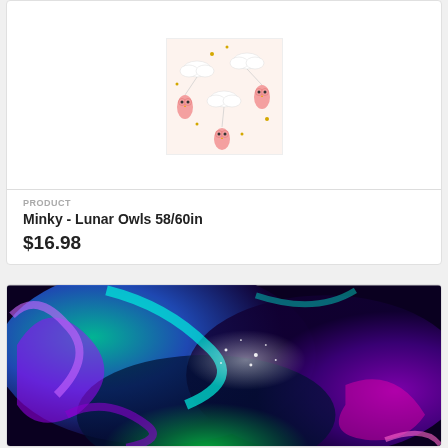[Figure (photo): Minky fabric with lunar owls pattern – white owls with clouds and gold accents on a light pink background]
PRODUCT
Minky - Lunar Owls 58/60in
$16.98
[Figure (photo): Galaxy/aurora borealis fabric – swirling teal, green, purple, and magenta colors with sparkle effect on dark background]